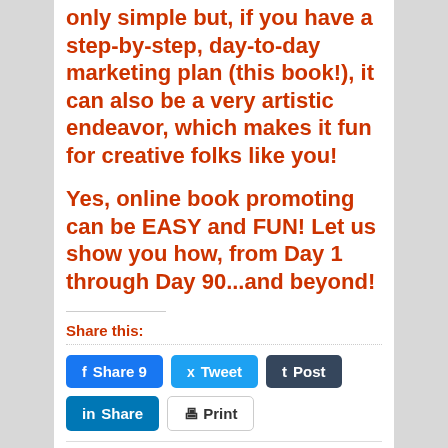only simple but, if you have a step-by-step, day-to-day marketing plan (this book!), it can also be a very artistic endeavor, which makes it fun for creative folks like you!
Yes, online book promoting can be EASY and FUN! Let us show you how, from Day 1 through Day 90...and beyond!
Share this:
[Figure (other): Social share buttons: Facebook Share 9, Twitter Tweet, Tumblr Post, LinkedIn Share, Print]
One Response to "ER Doctor, Who Treats Psychiatric Patients, Pens Novel About an ER Doctor...Who Goes Mad Himself...by Demand Then"